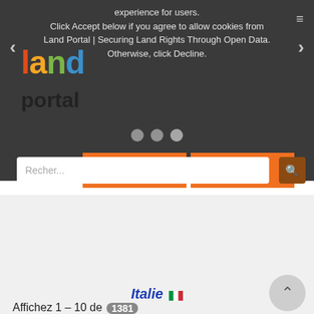[Figure (screenshot): Land Portal website screenshot with cookie consent overlay on dark background. Shows logo, navigation dots, Acceptez and Decline buttons, and search bar.]
experience for users.
Click Accept below if you agree to allow cookies from Land Portal | Securing Land Rights Through Open Data. Otherwise, click Decline.
Acceptez
Decline
Recher...
🏠 Pays   Thèmes ▾   Rejoignez le débat
Données ▾   Bibliothèque ▾
Actualités & Événements ▾   Communauté ▾
Italie 🇮🇹
Affichez 1 – 10 de 1381